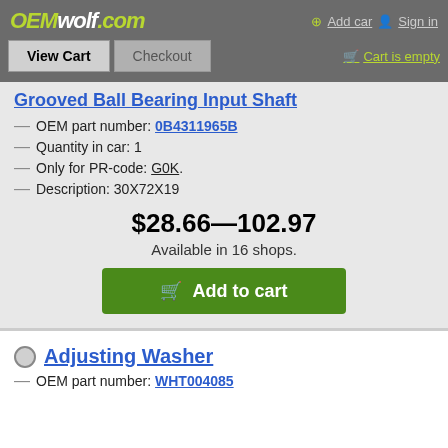OEMwolf.com — Add car  Sign in — View Cart  Checkout  Cart is empty
Grooved Ball Bearing Input Shaft
OEM part number: 0B4311965B
Quantity in car: 1
Only for PR-code: G0K.
Description: 30X72X19
$28.66—102.97
Available in 16 shops.
Add to cart
Adjusting Washer
OEM part number: WHT004085